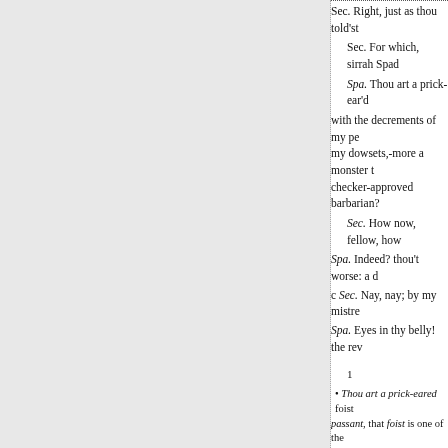Sec. Right, just as thou told'st
Sec. For which, sirrah Spad
Spa. Thou art a prick-ear'd with the decrements of my pe my dowsets,-more a monster t checker-approved barbarian?
Sec. How now, fellow, how
Spa. Indeed? thou't worse: a d
c Sec. Nay, nay; by my mistre
Spa. Eyes in thy belly! the rev
1
• Thou art a prick-eared foist passant, that foist is one of the ugly, in allusion to the grotesqu were ornamented; that knack is the reader pleases.
By any checker-approved ba Secco is not tainted with the vi